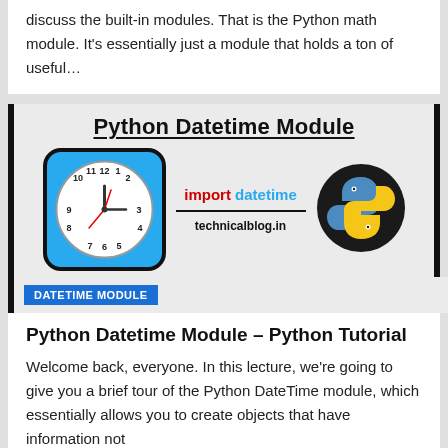discuss the built-in modules. That is the Python math module. It's essentially just a module that holds a ton of useful…
[Figure (illustration): Python Datetime Module banner image with a clock icon on blue background, 'import datetime' text in red and blue, Python snake logo, and site label 'technicalblog.in'. A blue badge reads 'DATETIME MODULE'.]
Python Datetime Module – Python Tutorial
Welcome back, everyone. In this lecture, we're going to give you a brief tour of the Python DateTime module, which essentially allows you to create objects that have information not